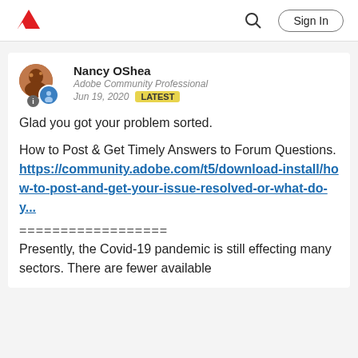Adobe | Sign In
Nancy OShea
Adobe Community Professional
Jun 19, 2020  LATEST
Glad you got your problem sorted.
How to Post & Get Timely Answers to Forum Questions.
https://community.adobe.com/t5/download-install/how-to-post-and-get-your-issue-resolved-or-what-do-y...
==================
Presently, the Covid-19 pandemic is still effecting many sectors. There are fewer available